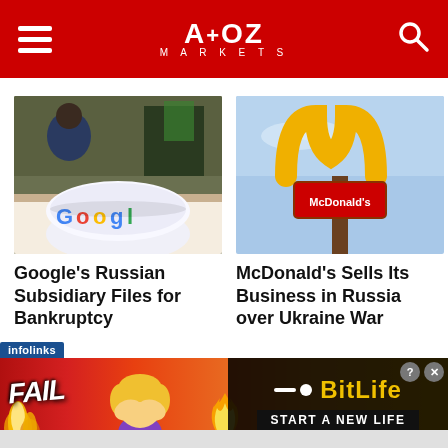A+OZ MARKETS
[Figure (photo): Google branded bowl on a table with a person in background]
Google's Russian Subsidiary Files for Bankruptcy
[Figure (photo): McDonald's sign against blue sky]
McDonald's Sells Its Business in Russia over Ukraine War
[Figure (other): Infolinks ad banner: FAIL text with cartoon character, BitLife - START A NEW LIFE advertisement]